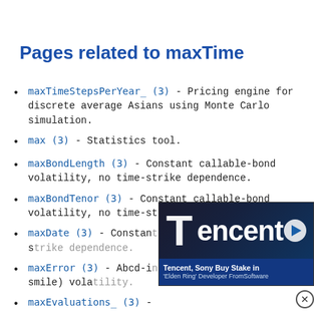Pages related to maxTime
maxTimeStepsPerYear_ (3) - Pricing engine for discrete average Asians using Monte Carlo simulation.
max (3) - Statistics tool.
maxBondLength (3) - Constant callable-bond volatility, no time-strike dependence.
maxBondTenor (3) - Constant callable-bond volatility, no time-strike dependence.
maxDate (3) - Constant callable-bond volatility, no time-s[trike dependence.]
maxError (3) - Abcd-i[nterpolation of] money (no-smile) vola[tility.]
maxEvaluations_ (3) -
[Figure (screenshot): Advertisement overlay showing Tencent logo with play button and headline 'Tencent, Sony Buy Stake in Elden Ring Developer FromSoftware']